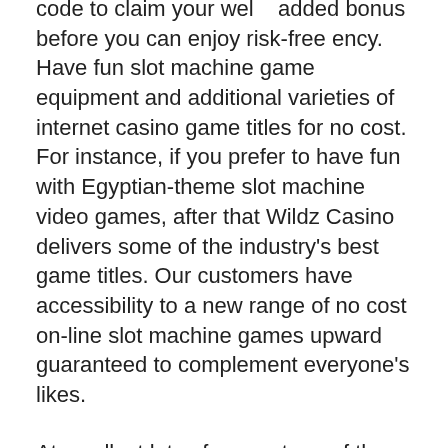code to claim your welcome added bonus before you can enjoy risk-free enjoy. Have fun slot machine game equipment and additional varieties of internet casino game titles for no cost. For instance, if you prefer to have fun with Egyptian-theme slot machine video games, after that Wildz Casino delivers some of the industry's best game titles. Our customers have accessibility to a new range of no cost on-line slot machine games upward guaranteed to complement everyone's likes.
At smallest lots of percentage of the poker chips is of an earthen stuff many of these as mud, chalk, and clay surfaces similar to that found in cat litter The course of action used to produce these poker chips is a buy and sell top secret , and https://verdeaqua.com.co/la-loi-pour-samsung-prepaye-sans-payer-casino-majestic-slots-t-mobile-est-il-adequat-a-votre-place/ varies just a bit by company, nearly all being comparatively